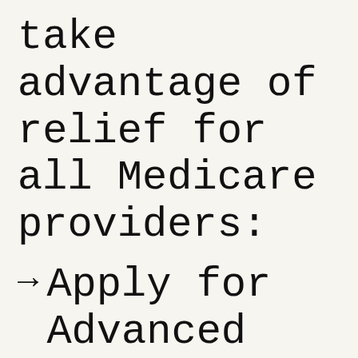take advantage of relief for all Medicare providers:
→ Apply for Advanced and Accelerated Payment
Hospices in good standing can apply for advanced